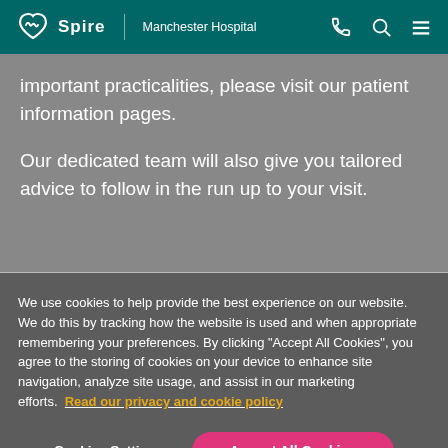Spire | Manchester Hospital
important practicalities, please visit our patient information pages.
Our dedicated team will also give you tailored advice to follow in the run up to your visit.
We use cookies to help provide the best experience on our website. We do this by tracking how the website is used and when appropriate remembering your preferences. By clicking "Accept All Cookies", you agree to the storing of cookies on your device to enhance site navigation, analyze site usage, and assist in our marketing efforts.  Read our privacy and cookie policy
Cookies Settings
Accept All Cookies